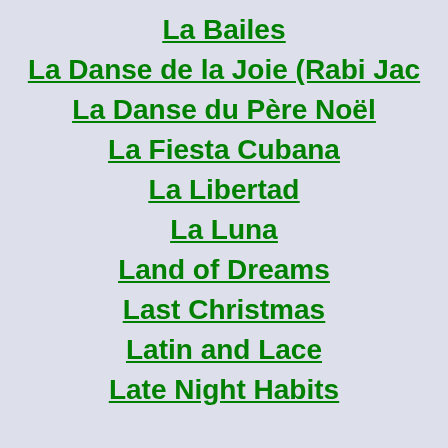La Bailes
La Danse de la Joie (Rabi Jac
La Danse du Père Noël
La Fiesta Cubana
La Libertad
La Luna
Land of Dreams
Last Christmas
Latin and Lace
Late Night Habits